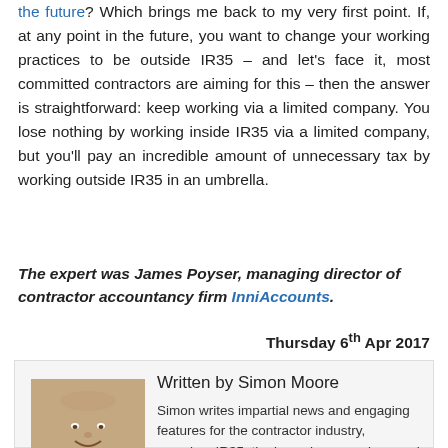the future? Which brings me back to my very first point. If, at any point in the future, you want to change your working practices to be outside IR35 – and let's face it, most committed contractors are aiming for this – then the answer is straightforward: keep working via a limited company. You lose nothing by working inside IR35 via a limited company, but you'll pay an incredible amount of unnecessary tax by working outside IR35 in an umbrella.
The expert was James Poyser, managing director of contractor accountancy firm InniAccounts.
Thursday 6th Apr 2017
[Figure (photo): Headshot photo of Simon Moore, a bald man smiling]
Written by Simon Moore
Simon writes impartial news and engaging features for the contractor industry, covering, IR35, the loan charge and general tax and legislation.
Read full bio